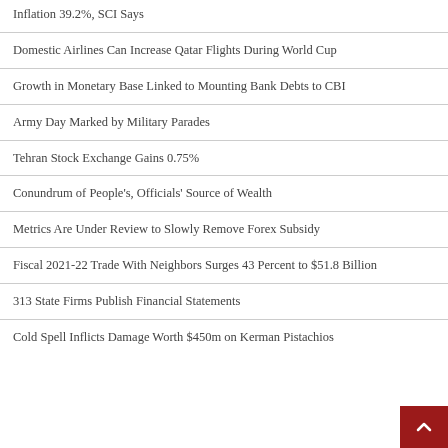Inflation 39.2%, SCI Says
Domestic Airlines Can Increase Qatar Flights During World Cup
Growth in Monetary Base Linked to Mounting Bank Debts to CBI
Army Day Marked by Military Parades
Tehran Stock Exchange Gains 0.75%
Conundrum of People's, Officials' Source of Wealth
Metrics Are Under Review to Slowly Remove Forex Subsidy
Fiscal 2021-22 Trade With Neighbors Surges 43 Percent to $51.8 Billion
313 State Firms Publish Financial Statements
Cold Spell Inflicts Damage Worth $450m on Kerman Pistachios